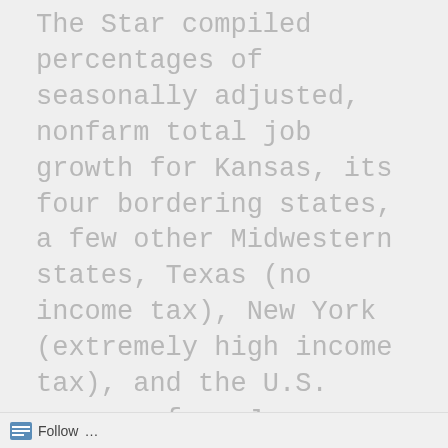The Star compiled percentages of seasonally adjusted, nonfarm total job growth for Kansas, its four bordering states, a few other Midwestern states, Texas (no income tax), New York (extremely high income tax), and the U.S. average from January 2011 through June 30, 2014.
Privacy & Cookies: This site uses cookies. By continuing to use this website, you agree to their use. To find out more, including how to control cookies, see here: Cookie Policy
Close and accept
Follow ...